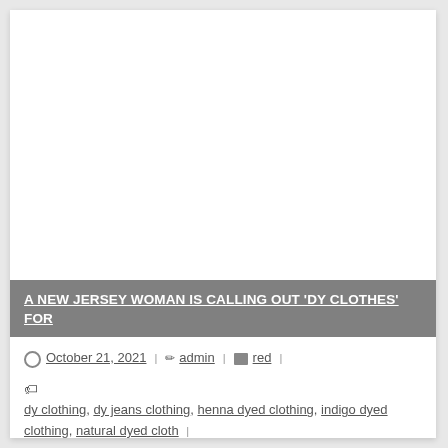[Figure (photo): Large white/blank image area at the top of the article card]
A NEW JERSEY WOMAN IS CALLING OUT 'DY CLOTHES' FOR
October 21, 2021 | admin | red |
dy clothing, dy jeans clothing, henna dyed clothing, indigo dyed clothing, natural dyed cloth |